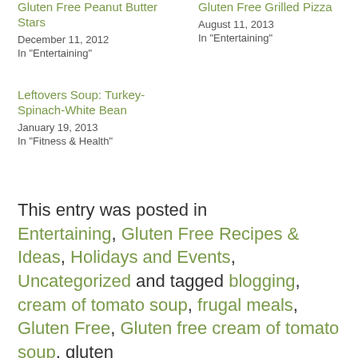Gluten Free Peanut Butter Stars
December 11, 2012
In "Entertaining"
Gluten Free Grilled Pizza
August 11, 2013
In "Entertaining"
Leftovers Soup: Turkey-Spinach-White Bean
January 19, 2013
In "Fitness & Health"
This entry was posted in Entertaining, Gluten Free Recipes & Ideas, Holidays and Events, Uncategorized and tagged blogging, cream of tomato soup, frugal meals, Gluten Free, Gluten free cream of tomato soup, gluten